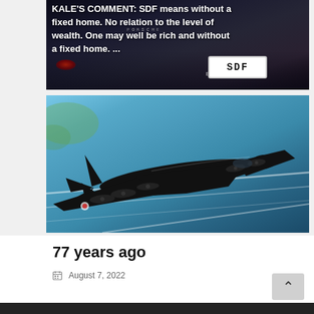[Figure (photo): Rear of a dark Porsche car showing license plate reading SDF, with text overlay about SDF meaning 'without a fixed home']
KALE'S COMMENT: SDF means without a fixed home. No relation to the level of wealth. One may well be rich and without a fixed home. ...
[Figure (illustration): Animated/illustrated style image of a black B-29 bomber aircraft flying against a blue sky background]
77 years ago
August 7, 2022